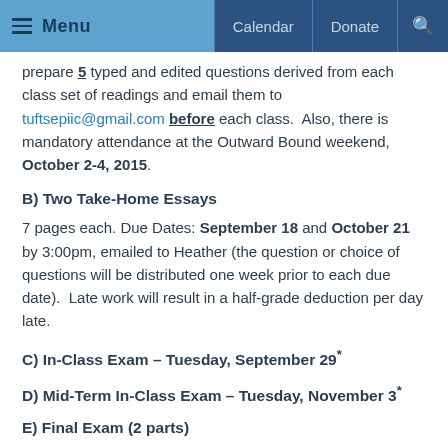Menu | Calendar | Donate | Search
prepare 5 typed and edited questions derived from each class set of readings and email them to tuftsepiic@gmail.com before each class.  Also, there is mandatory attendance at the Outward Bound weekend, October 2-4, 2015.
B) Two Take-Home Essays
7 pages each. Due Dates: September 18 and October 21 by 3:00pm, emailed to Heather (the question or choice of questions will be distributed one week prior to each due date).  Late work will result in a half-grade deduction per day late.
C) In-Class Exam – Tuesday, September 29*
D) Mid-Term In-Class Exam – Tuesday, November 3*
E) Final Exam (2 parts)
Part I. In-Class, short answer exam – Tuesday, December 22, 12:00pm